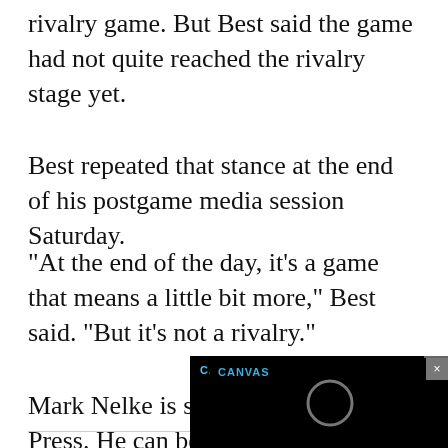rivalry game. But Best said the game had not quite reached the rivalry stage yet.
Best repeated that stance at the end of his postgame media session Saturday.
"At the end of the day, it's a game that means a little bit more," Best said. "But it's not a rivalry."
Mark Nelke is sports editor of The Press. He can be reached at (...) email at mnelke@... on Twitter @CdAP...
[Figure (screenshot): Black video player overlay with CANVAS label in blue text and a loading circle icon, with an X close button in the top right corner]